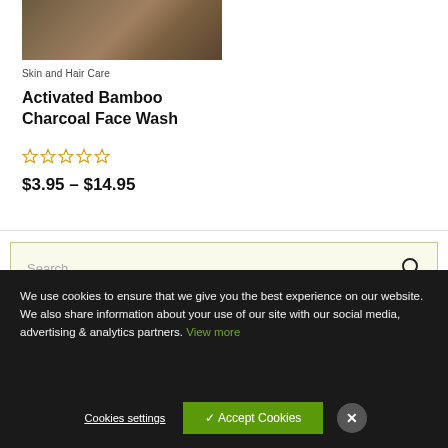[Figure (photo): Product image showing bamboo charcoal or natural fibers texture in brown tones]
Skin and Hair Care
Activated Bamboo Charcoal Face Wash
★★★★★ (0 rating stars, empty)
$3.95 – $14.95
Search ...
We use cookies to ensure that we give you the best experience on our website. We also share information about your use of our site with our social media, advertising & analytics partners. View more
Cookies settings
✓ Accept Cookies
✕